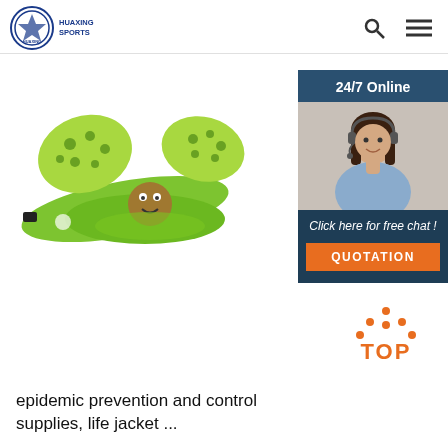HUAXING SPORTS
[Figure (photo): Green children's swim float / life jacket with polka-dot arm floaties and a cartoon character on the front]
[Figure (photo): 24/7 Online chat widget showing a smiling woman with headset. Text: 'Click here for free chat!' and orange QUOTATION button]
[Figure (illustration): Orange dotted triangle TOP navigation icon with the word TOP in orange]
epidemic prevention and control supplies, life jacket ...